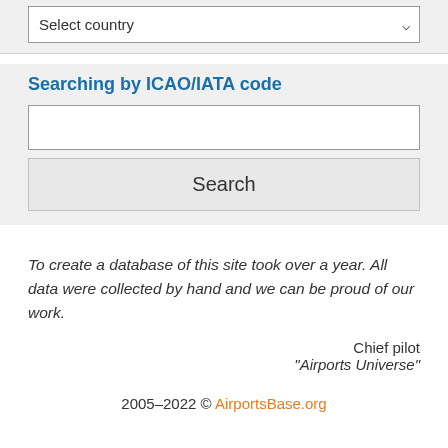Select country
Searching by ICAO/IATA code
Search
To create a database of this site took over a year. All data were collected by hand and we can be proud of our work.
Chief pilot
"Airports Universe"
2005–2022 © AirportsBase.org